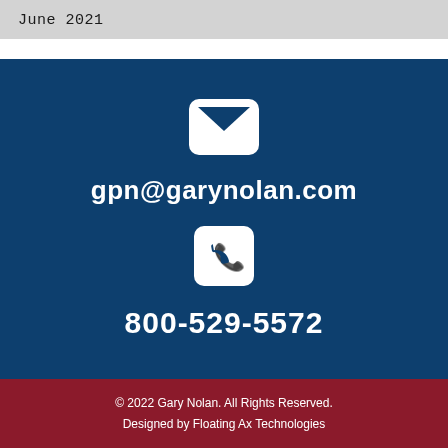June 2021
[Figure (illustration): White envelope icon on dark blue background representing email contact]
gpn@garynolan.com
[Figure (illustration): White phone handset icon in white rounded rectangle box on dark blue background representing phone contact]
800-529-5572
© 2022 Gary Nolan. All Rights Reserved. Designed by Floating Ax Technologies